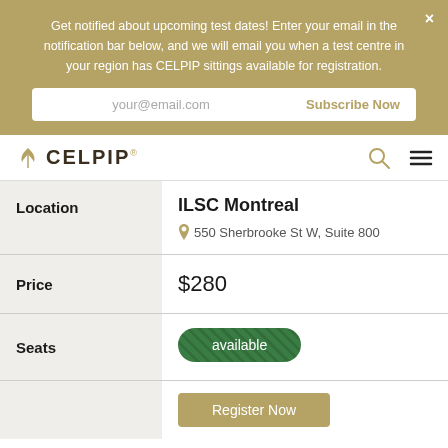Get notified about upcoming test dates! Enter your email in the notification bar below, and we will email you when a test centre in your region has CELPIP sittings available for registration.
your@email.com
Subscribe Now
[Figure (logo): CELPIP logo with gold leaf icon and navigation icons (search and hamburger menu)]
|  |  |
| --- | --- |
| Location | ILSC Montreal
550 Sherbrooke St W, Suite 800 |
| Price | $280 |
| Seats | available |
|  | Register Now |